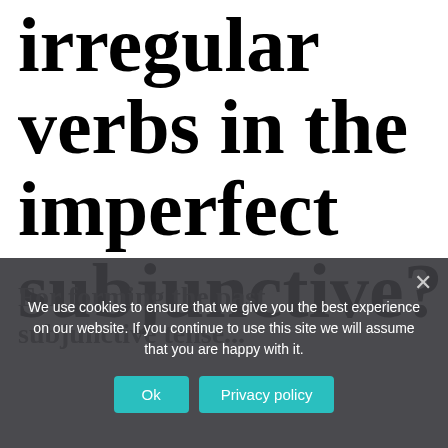irregular verbs in the imperfect subjunctive?
We use cookies to ensure that we give you the best experience on our website. If you continue to use this site we will assume that you are happy with it.
For forming the past subjunctive tense...
Ok
Privacy policy